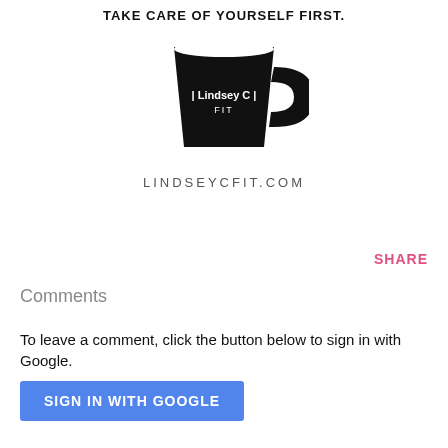TAKE CARE OF YOURSELF FIRST.
[Figure (logo): Black coffee mug with fitness brand logo (lindseycfit) inside]
LINDSEYCFIT.COM
SHARE
Comments
To leave a comment, click the button below to sign in with Google.
SIGN IN WITH GOOGLE